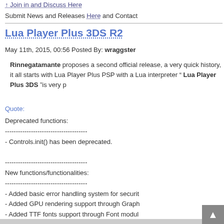↑ Join in and Discuss Here
Submit News and Releases Here and Contact
Lua Player Plus 3DS R2
May 11th, 2015, 00:56 Posted By: wraggster
Rinnegatamante proposes a second official release, a very quick history, it all starts with Lua Player Plus PSP with a Lua interpreter " Lua Player Plus 3DS "is very p
Quote:
Deprecated functions:
--------------------------------------
- Controls.init() has been deprecated.

--------------------------------------
New functions/functionalities:
--------------------------------------
- Added basic error handling system for securit
- Added GPU rendering support through Graph
- Added TTF fonts support through Font modul
- Added vorbis audiocodec support to JPGV vi
- Added OGG audio files metadatas support
- Added 3D support to JPGV video fi